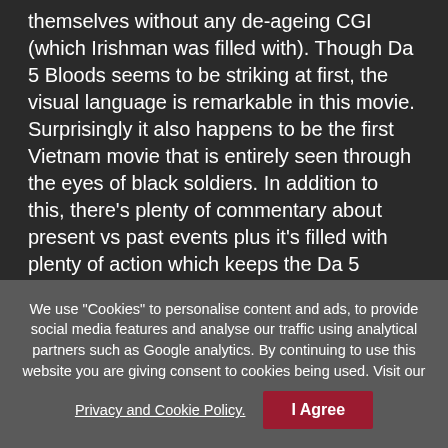themselves without any de-ageing CGI (which Irishman was filled with). Though Da 5 Bloods seems to be striking at first, the visual language is remarkable in this movie. Surprisingly it also happens to be the first Vietnam movie that is entirely seen through the eyes of black soldiers. In addition to this, there's plenty of commentary about present vs past events plus it's filled with plenty of action which keeps the Da 5 Bloods running for 157 minutes.
We use "Cookies" to personalise content and ads, to provide social media features and analyse our traffic using analytical partners such as Google analytics. By continuing to use this website you are giving consent to cookies being used. Visit our Privacy and Cookie Policy.